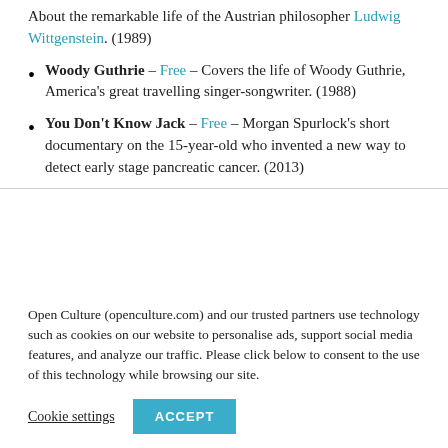About the remarkable life of the Austrian philosopher Ludwig Wittgenstein. (1989)
Woody Guthrie – Free – Covers the life of Woody Guthrie, America's great travelling singer-songwriter. (1988)
You Don't Know Jack – Free – Morgan Spurlock's short documentary on the 15-year-old who invented a new way to detect early stage pancreatic cancer. (2013)
Open Culture (openculture.com) and our trusted partners use technology such as cookies on our website to personalise ads, support social media features, and analyze our traffic. Please click below to consent to the use of this technology while browsing our site.
Cookie settings | ACCEPT